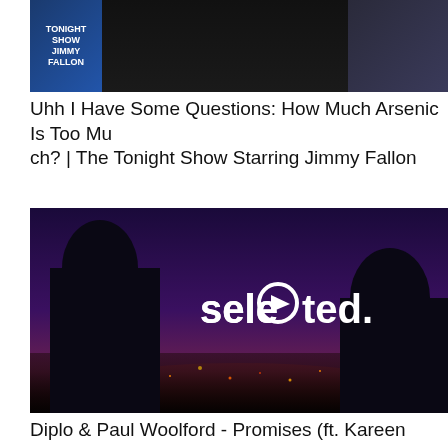[Figure (photo): Thumbnail image from The Tonight Show Starring Jimmy Fallon featuring the show logo on the left and two people on stage]
Uhh I Have Some Questions: How Much Arsenic Is Too Much? | The Tonight Show Starring Jimmy Fallon
[Figure (photo): Thumbnail image showing two silhouettes against a city skyline at dusk with the 'selected.' logo overlaid in white text]
Diplo & Paul Woolford - Promises (ft. Kareen Lomax)
[Figure (photo): Thumbnail image with colorful heat map visualization in red, orange, yellow, and green colors on a black background]